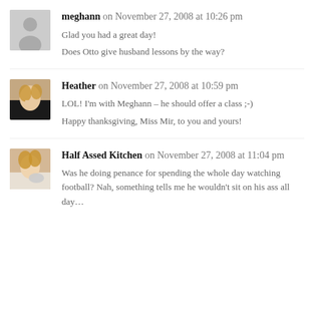meghann on November 27, 2008 at 10:26 pm
Glad you had a great day!
Does Otto give husband lessons by the way?
Heather on November 27, 2008 at 10:59 pm
LOL! I'm with Meghann – he should offer a class ;-)
Happy thanksgiving, Miss Mir, to you and yours!
Half Assed Kitchen on November 27, 2008 at 11:04 pm
Was he doing penance for spending the whole day watching football? Nah, something tells me he wouldn't sit on his ass all day…